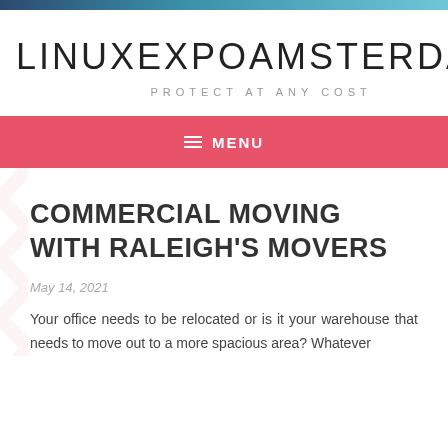LINUXEXPOAMSTERDAM — PROTECT AT ANY COST
COMMERCIAL MOVING WITH RALEIGH'S MOVERS
May 14, 2021
Your office needs to be relocated or is it your warehouse that needs to move out to a more spacious area? Whatever